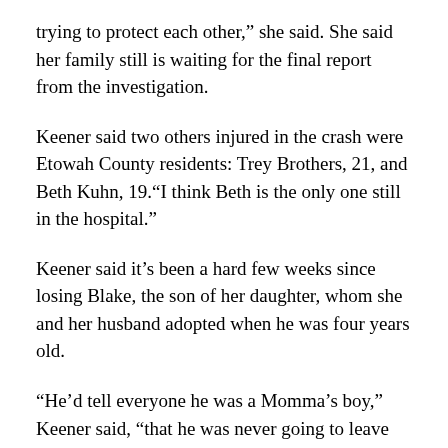trying to protect each other,” she said. She said her family still is waiting for the final report from the investigation.
Keener said two others injured in the crash were Etowah County residents: Trey Brothers, 21, and Beth Kuhn, 19. “I think Beth is the only one still in the hospital.”
Keener said it’s been a hard few weeks since losing Blake, the son of her daughter, whom she and her husband adopted when he was four years old.
“He’d tell everyone he was a Momma’s boy,” Keener said, “that he was never going to leave me.”
Blake’s nickname was Caspar, she said, and when he